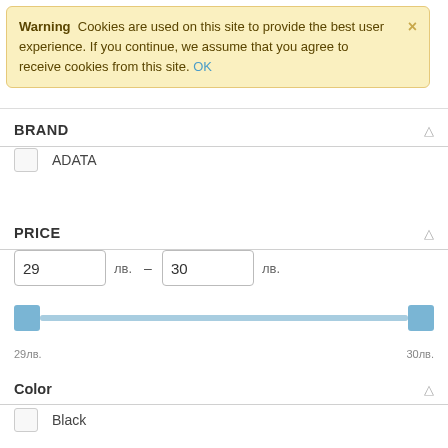Warning  Cookies are used on this site to provide the best user experience. If you continue, we assume that you agree to receive cookies from this site. OK
BRAND
ADATA
PRICE
29 лв. — 30 лв.
29лв.   30лв.
Color
Black